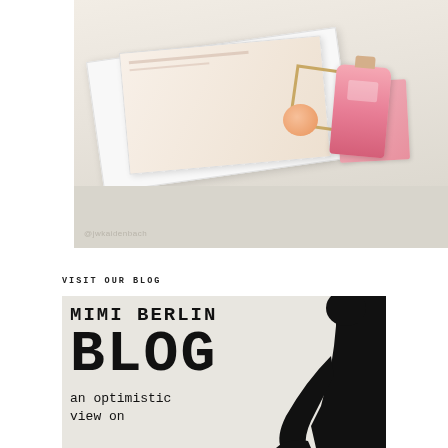[Figure (photo): Photo of cosmetics/perfume products including a pink perfume bottle, a gold frame, and a peach on top of magazines/books, with @jwkaidenbach watermark at bottom left. Lower portion fades to a beige-gray background.]
@jwkaidenbach
VISIT OUR BLOG
[Figure (illustration): Mimi Berlin Blog banner graphic with monospace/typewriter font text reading 'MIMI BERLIN BLOG an optimistic view on' on a light beige background, with a black silhouette figure of a person (appears to be in a stylized pose) on the right side.]